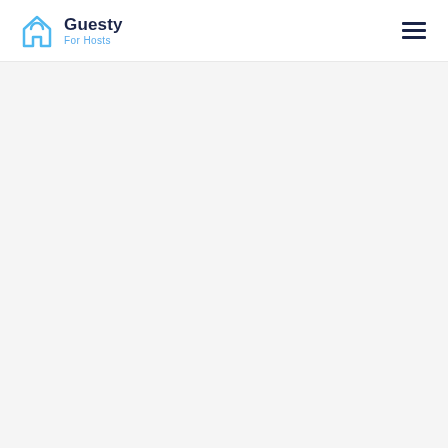[Figure (logo): Guesty For Hosts logo with house icon on left, 'Guesty' in dark navy bold text and 'For Hosts' in light blue below, hamburger menu icon on right]
[Figure (other): Light gray empty body area below the header navigation bar]